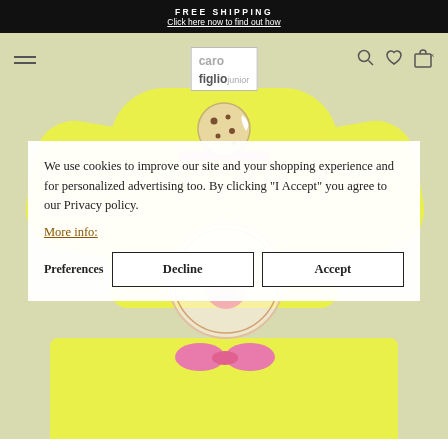FREE SHIPPING
Click here now to find out how
[Figure (screenshot): Website navigation bar with hamburger menu, Caro Figlio Junior logo in bordered box, and icons (search, heart, bag) on right. Cookie icon below logo. Background shows product photo of yellow children's clothing set with pink bow and branded Marc Jacobs circular patch.]
We use cookies to improve our site and your shopping experience and for personalized advertising too. By clicking "I Accept" you agree to our Privacy policy.
More info:
Preferences
Decline
Accept